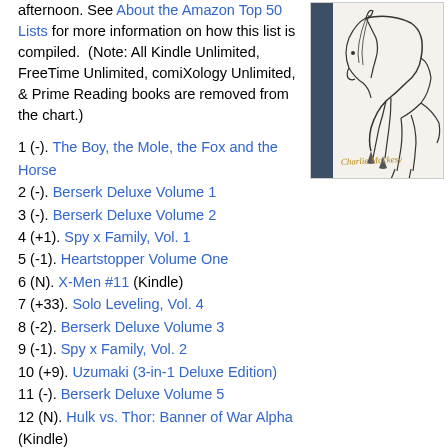afternoon. See About the Amazon Top 50 Lists for more information on how this list is compiled. (Note: All Kindle Unlimited, FreeTime Unlimited, comiXology Unlimited, & Prime Reading books are removed from the chart.)
[Figure (illustration): Book cover of 'The Boy, the Mole, the Fox and the Horse' by Charlie Mackesy, showing a sketch illustration of a horse bending down, with the author's name in handwritten gold text at the bottom.]
1 (-). The Boy, the Mole, the Fox and the Horse
2 (-). Berserk Deluxe Volume 1
3 (-). Berserk Deluxe Volume 2
4 (+1). Spy x Family, Vol. 1
5 (-1). Heartstopper Volume One
6 (N). X-Men #11 (Kindle)
7 (+33). Solo Leveling, Vol. 4
8 (-2). Berserk Deluxe Volume 3
9 (-1). Spy x Family, Vol. 2
10 (+9). Uzumaki (3-in-1 Deluxe Edition)
11 (-). Berserk Deluxe Volume 5
12 (N). Hulk vs. Thor: Banner of War Alpha (Kindle)
13 (-6). Maus I: My Father Bleeds History
14 (+7). Chainsaw Man, Vol. 10